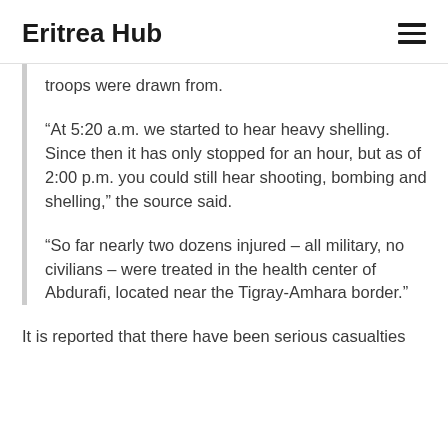Eritrea Hub
troops were drawn from.
“At 5:20 a.m. we started to hear heavy shelling. Since then it has only stopped for an hour, but as of 2:00 p.m. you could still hear shooting, bombing and shelling,” the source said.
“So far nearly two dozens injured – all military, no civilians – were treated in the health center of Abdurafi, located near the Tigray-Amhara border.”
It is reported that there have been serious casualties